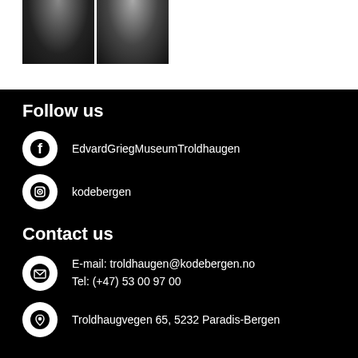[Figure (photo): Two black and white portrait photos side by side at top of page]
Follow us
EdvardGriegMuseumTroldhaugen
kodebergen
Contact us
E-mail: troldhaugen@kodebergen.no
Tel: (+47) 53 00 97 00
Troldhaugvegen 65, 5232 Paradis-Bergen